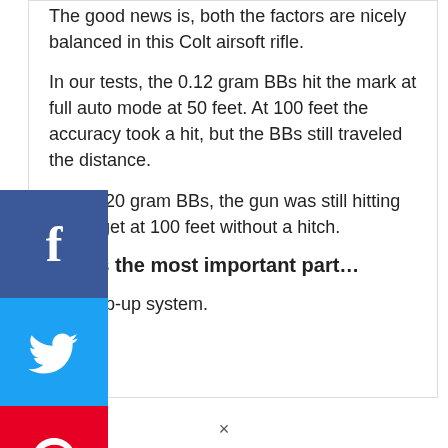The good news is, both the factors are nicely balanced in this Colt airsoft rifle.
In our tests, the 0.12 gram BBs hit the mark at full auto mode at 50 feet. At 100 feet the accuracy took a hit, but the BBs still traveled the distance.
With 0.20 gram BBs, the gun was still hitting the target at 100 feet without a hitch.
Here's the most important part…
The hop-up system.